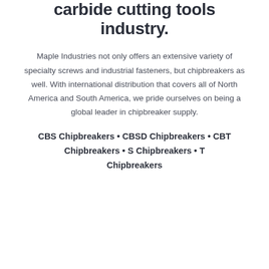carbide cutting tools industry.
Maple Industries not only offers an extensive variety of specialty screws and industrial fasteners, but chipbreakers as well. With international distribution that covers all of North America and South America, we pride ourselves on being a global leader in chipbreaker supply.
CBS Chipbreakers • CBSD Chipbreakers • CBT Chipbreakers • S Chipbreakers • T Chipbreakers